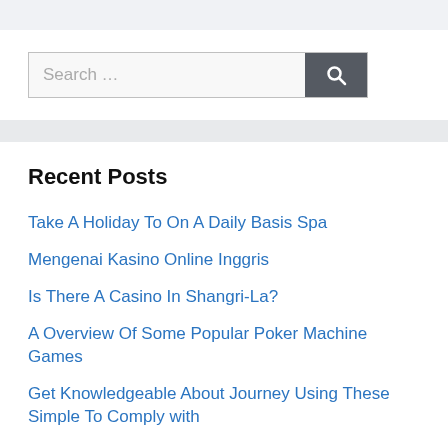[Figure (screenshot): Search bar with text placeholder 'Search …' and a dark grey search button with magnifying glass icon]
Recent Posts
Take A Holiday To On A Daily Basis Spa
Mengenai Kasino Online Inggris
Is There A Casino In Shangri-La?
A Overview Of Some Popular Poker Machine Games
Get Knowledgeable About Journey Using These Simple To Comply with